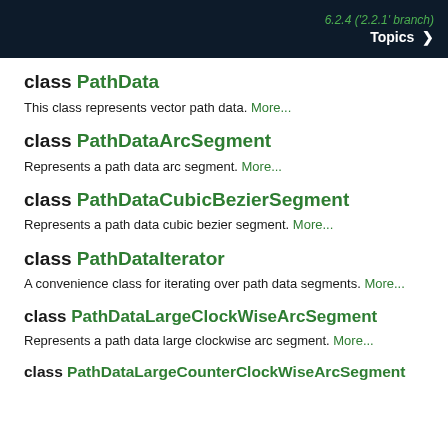6.2.4 ('2.2.1' branch) Topics >
class PathData
This class represents vector path data. More...
class PathDataArcSegment
Represents a path data arc segment. More...
class PathDataCubicBezierSegment
Represents a path data cubic bezier segment. More...
class PathDataIterator
A convenience class for iterating over path data segments. More...
class PathDataLargeClockWiseArcSegment
Represents a path data large clockwise arc segment. More...
class PathDataLargeCounterClockWiseArcSegment